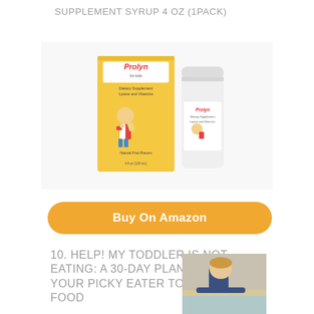SUPPLEMENT SYRUP 4 OZ (1PACK)
[Figure (photo): Product photo of Prolyn for Kids dietary supplement syrup, showing the yellow box packaging and a white bottle with label]
Buy On Amazon
10. HELP! MY TODDLER IS NOT EATING: A 30-DAY PLAN TO GET YOUR PICKY EATER TO ENJOY NEW FOOD
[Figure (photo): Photo of a young child sitting at a table with head in hands, appearing to refuse food]